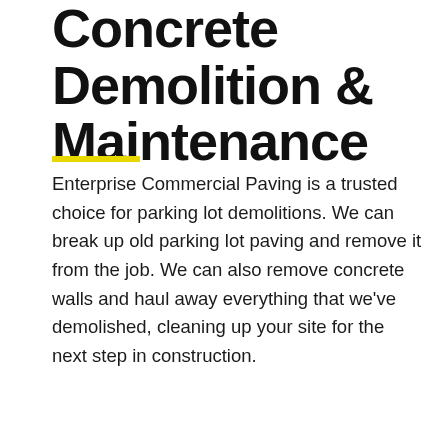Concrete Demolition & Maintenance
Enterprise Commercial Paving is a trusted choice for parking lot demolitions. We can break up old parking lot paving and remove it from the job. We can also remove concrete walls and haul away everything that we’ve demolished, cleaning up your site for the next step in construction.